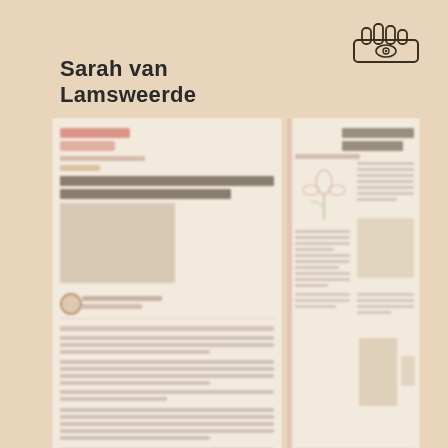Sarah van Lamsweerde
[Figure (logo): Hand with eye icon logo, line drawing style]
[Figure (screenshot): Blurred magazine/article page left side showing article with headline TACHTIG WORDEN ZIJN SENSES, star rating, image and body text]
[Figure (screenshot): Blurred magazine spread right side showing article with large headline, flower illustration, body text in columns and product photo]